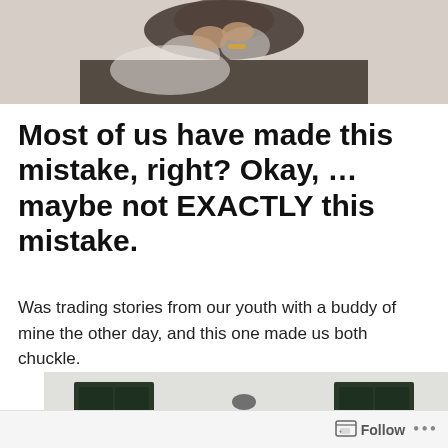[Figure (photo): Elderly woman with dark floral clothing and lace details, hands clasped near face, wearing a gold bracelet]
Most of us have made this mistake, right? Okay, …maybe not EXACTLY this mistake.
Was trading stories from our youth with a buddy of mine the other day, and this one made us both chuckle.
[Figure (photo): Hand holding keys in front of a building with dark windows, house keys on a keychain]
Follow ...